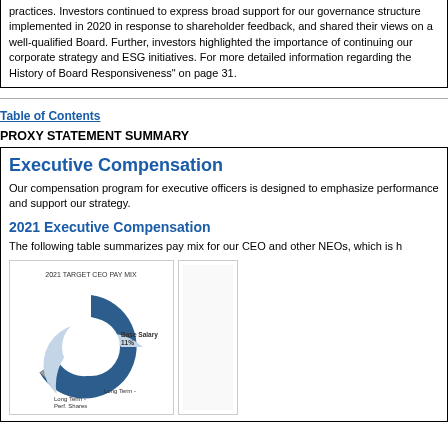practices. Investors continued to express broad support for our governance structure implemented in 2020 in response to shareholder feedback, and shared their views on a well-qualified Board. Further, investors highlighted the importance of continuing our corporate strategy and ESG initiatives. For more detailed information regarding the History of Board Responsiveness" on page 31.
Table of Contents
PROXY STATEMENT SUMMARY
Executive Compensation
Our compensation program for executive officers is designed to emphasize performance and support our strategy.
2021 Executive Compensation
The following table summarizes pay mix for our CEO and other NEOs, which is highlighted below.
[Figure (donut-chart): Donut chart showing 2021 Target CEO Pay Mix with segments: Base Salary 11%, Long Term - Perf. Shares, Long Term - (dark blue large segment)]